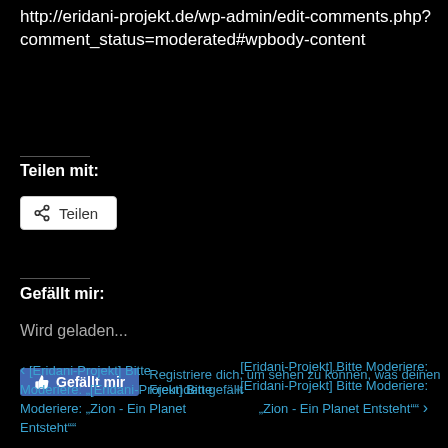http://eridani-projekt.de/wp-admin/edit-comments.php?comment_status=moderated#wpbody-content
Teilen mit:
[Figure (other): Share button with share icon and label 'Teilen']
Gefällt mir:
Wird geladen...
[Figure (other): Facebook Like button with thumbs up icon and label 'Gefällt mir', followed by text 'Registriere dich, um sehen zu können, was deinen Freunden gefällt']
< [Eridani-Projekt] Bitte Moderiere: „[Eridani-Projekt] Bitte Moderiere: „Zion - Ein Planet Entsteht""
[Eridani-Projekt] Bitte Moderiere: „[Eridani-Projekt] Bitte Moderiere: „Zion - Ein Planet Entsteht"" >